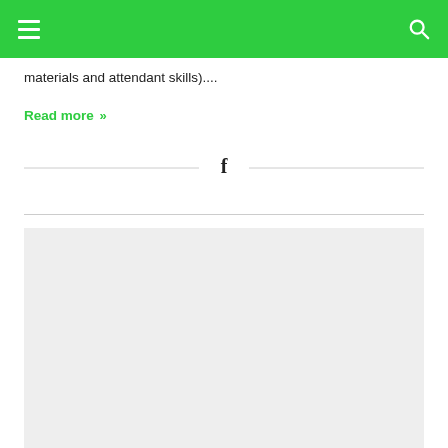materials and attendant skills)....
Read more »
[Figure (other): Facebook share button icon with horizontal divider lines on both sides]
[Figure (photo): Light gray image placeholder block]